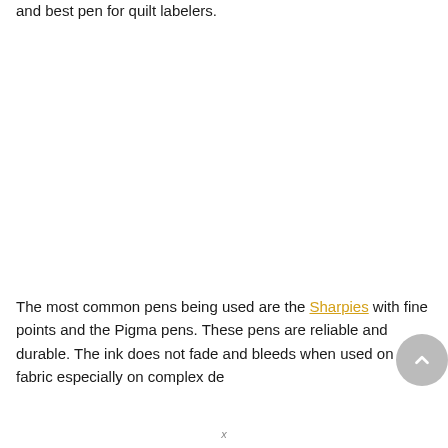and best pen for quilt labelers.
The most common pens being used are the Sharpies with fine points and the Pigma pens. These pens are reliable and durable. The ink does not fade and bleeds when used on the fabric especially on complex de…